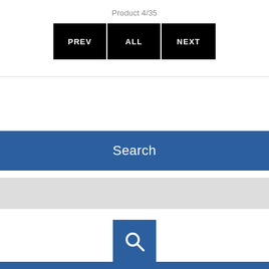Product 4/35
[Figure (screenshot): Navigation buttons: PREV, ALL, NEXT on black background]
[Figure (screenshot): Search bar with blue background showing 'Search' label, gray input field, blue search icon button, and 'Advanced Search' link]